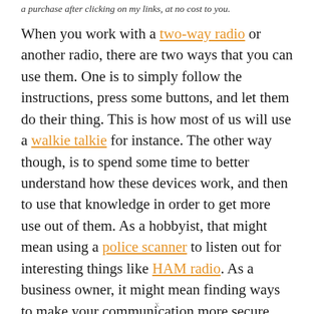a purchase after clicking on my links, at no cost to you.
When you work with a two-way radio or another radio, there are two ways that you can use them. One is to simply follow the instructions, press some buttons, and let them do their thing. This is how most of us will use a walkie talkie for instance. The other way though, is to spend some time to better understand how these devices work, and then to use that knowledge in order to get more use out of them. As a hobbyist, that might mean using a police scanner to listen out for interesting things like HAM radio. As a business owner, it might mean finding ways to make your communication more secure and
x